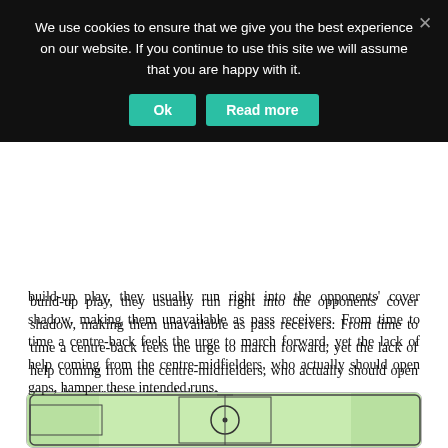We use cookies to ensure that we give you the best experience on our website. If you continue to use this site we will assume that you are happy with it.
build-up play, they usually run right into the opponents' cover shadow, making them unavailable as pass receivers. From time to time a centre-back feels the urge to march forward, yet the lack of help coming from the centre-midfielders, who actually should open gaps, hamper these intended runs.
Another significant element of Hodgson's side, when in possession, is the movement shown by both number eight players who are usually cut off from the centre-backs and rather overload the wing zones up front to support the advancing full-backs. Plus, they sometimes wait in the upper backfield to receive the ball when a full-back or attacking winger intends to loosen a tight situation near the opposing penalty area.
[Figure (other): Football pitch diagram showing a top-down view of the pitch with a circle in the centre area and a goal/penalty box visible.]